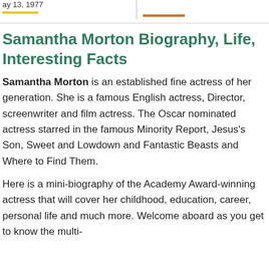ay 13, 1977
Samantha Morton Biography, Life, Interesting Facts
Samantha Morton is an established fine actress of her generation. She is a famous English actress, Director, screenwriter and film actress. The Oscar nominated actress starred in the famous Minority Report, Jesus's Son, Sweet and Lowdown and Fantastic Beasts and Where to Find Them.
Here is a mini-biography of the Academy Award-winning actress that will cover her childhood, education, career, personal life and much more. Welcome aboard as you get to know the multi-